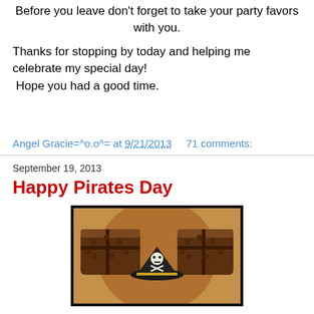Before you leave don't forget to take your party favors with you.
Thanks for stopping by today and helping me celebrate my special day!
 Hope you had a good time.
Angel Gracie=^o.o^= at 9/21/2013    71 comments:
September 19, 2013
Happy Pirates Day
[Figure (photo): Photo of a pirate treasure chest with a pirate hat with skull and crossbones on a wooden surface, shown inside a black border frame.]